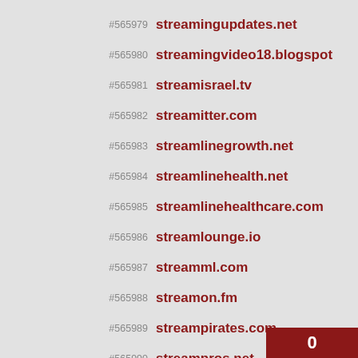#565979 streamingupdates.net
#565980 streamingvideo18.blogspot
#565981 streamisrael.tv
#565982 streamitter.com
#565983 streamlinegrowth.net
#565984 streamlinehealth.net
#565985 streamlinehealthcare.com
#565986 streamlounge.io
#565987 streamml.com
#565988 streamon.fm
#565989 streampirates.com
#565990 streampros.net
#565991 streamracer.com
0